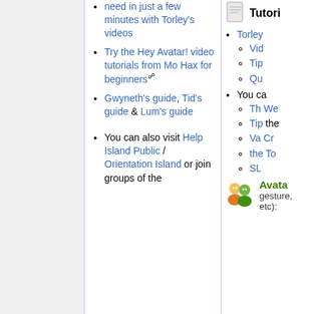need in just a few minutes with Torley's videos
Try the Hey Avatar! video tutorials from Mo Hax for beginners
Gwyneth's guide, Tid's guide & Lum's guide
You can also visit Help Island Public / Orientation Island or join groups of the
Tutori
Torley
Vid
Tip
Qu
You ca
Th We
Tip the
Va Cr
the To
SL
Avatar gesture, etc):